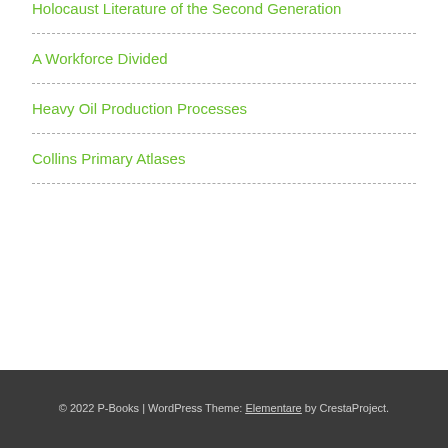Holocaust Literature of the Second Generation
A Workforce Divided
Heavy Oil Production Processes
Collins Primary Atlases
© 2022 P-Books | WordPress Theme: Elementare by CrestaProject.